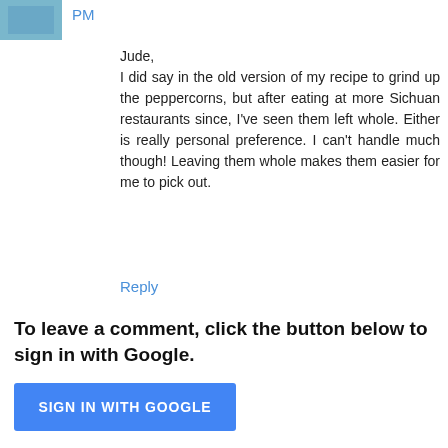PM
Jude,
I did say in the old version of my recipe to grind up the peppercorns, but after eating at more Sichuan restaurants since, I've seen them left whole. Either is really personal preference. I can't handle much though! Leaving them whole makes them easier for me to pick out.
Reply
To leave a comment, click the button below to sign in with Google.
[Figure (other): Blue 'SIGN IN WITH GOOGLE' button]
Thank you for stopping by. I try to respond in a timely manner, but am not always able to do so. If you're awaiting a response, check the post in which the comment is made or click the "Notify me" option.

If you're not a blogger and you'd like to leave a